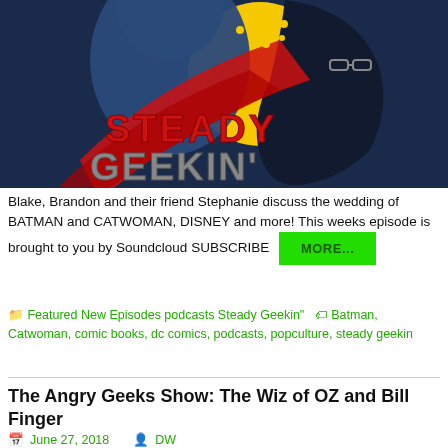[Figure (illustration): Steady Geekin podcast logo — two silhouetted profile faces facing each other on a dark blue background with a yellow half-circle, red lightning bolt swash, the text STEADY in red blocky letters and GEEKIN' in metallic grey letters below]
Blake, Brandon and their friend Stephanie discuss the wedding of BATMAN and CATWOMAN, DISNEY and more! This weeks episode is brought to you by Soundcloud SUBSCRIBE MORE...
Featured New Episodes podcasts Steady Geekin''   Batman, Catwoman, comic books, dc comics, podcasts, popculture, steady geekin
The Angry Geeks Show: The Wiz of OZ and Bill Finger
June 27, 2018   DW